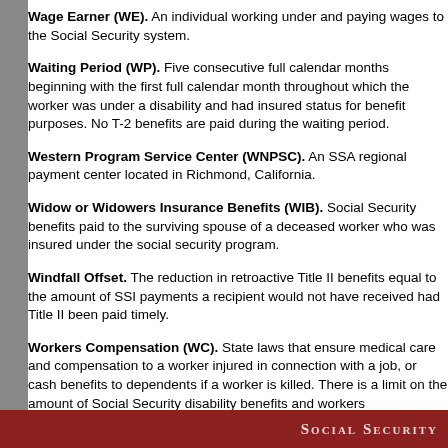Wage Earner (WE). An individual working under and paying wages to the Social Security system.
Waiting Period (WP). Five consecutive full calendar months beginning with the first full calendar month throughout which the worker was under a disability and had insured status for benefit purposes. No T-2 benefits are paid during the waiting period.
Western Program Service Center (WNPSC). An SSA regional payment center located in Richmond, California.
Widow or Widowers Insurance Benefits (WIB). Social Security benefits paid to the surviving spouse of a deceased worker who was insured under the social security program.
Windfall Offset. The reduction in retroactive Title II benefits equal to the amount of SSI payments a recipient would not have received had Title II been paid timely.
Workers Compensation (WC). State laws that ensure medical care and compensation to a worker injured in connection with a job, or cash benefits to dependents if a worker is killed. There is a limit on the amount of Social Security disability benefits and workers compensation benefits a recipient may receive.
Social Security